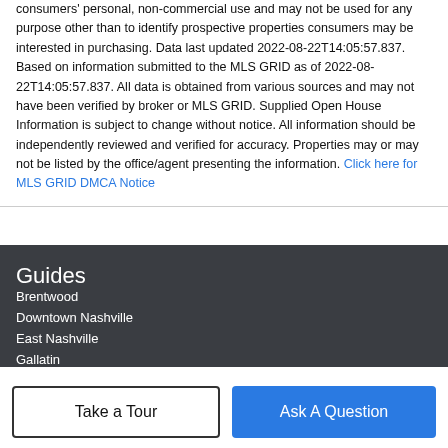consumers' personal, non-commercial use and may not be used for any purpose other than to identify prospective properties consumers may be interested in purchasing. Data last updated 2022-08-22T14:05:57.837. Based on information submitted to the MLS GRID as of 2022-08-22T14:05:57.837. All data is obtained from various sources and may not have been verified by broker or MLS GRID. Supplied Open House Information is subject to change without notice. All information should be independently reviewed and verified for accuracy. Properties may or may not be listed by the office/agent presenting the information. Click here for MLS GRID DMCA Notice
Guides
Brentwood
Downtown Nashville
East Nashville
Gallatin